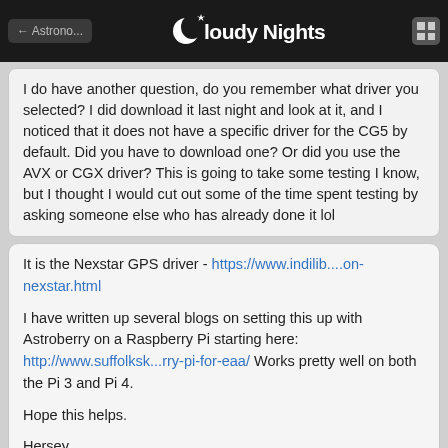← Astrono... | Cloudy Nights | [grid icon]
I do have another question, do you remember what driver you selected? I did download it last night and look at it, and I noticed that it does not have a specific driver for the CG5 by default. Did you have to download one? Or did you use the AVX or CGX driver? This is going to take some testing I know, but I thought I would cut out some of the time spent testing by asking someone else who has already done it lol
It is the Nexstar GPS driver - https://www.indilib....on-nexstar.html
I have written up several blogs on setting this up with Astroberry on a Raspberry Pi starting here: http://www.suffolksk...rry-pi-for-eaa/ Works pretty well on both the Pi 3 and Pi 4.
Hope this helps.
Hersey
JonCarleton
22 Jun 2022
You'll find pretty good support on the indilib.org Forum for INDIserver for the supported hardware as well.